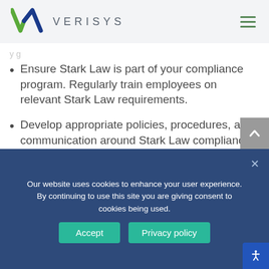VERISYS
Ensure Stark Law is part of your compliance program. Regularly train employees on relevant Stark Law requirements.
Develop appropriate policies, procedures, and communication around Stark Law compliance.
Respond with corrective action
Our website uses cookies to enhance your user experience. By continuing to use this site you are giving consent to cookies being used.